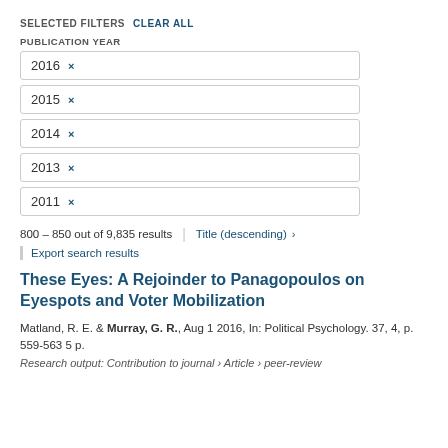SELECTED FILTERS  CLEAR ALL
PUBLICATION YEAR
2016 ×
2015 ×
2014 ×
2013 ×
2011 ×
800 – 850 out of 9,835 results  |  Title (descending) ›
Export search results
These Eyes: A Rejoinder to Panagopoulos on Eyespots and Voter Mobilization
Matland, R. E. & Murray, G. R., Aug 1 2016, In: Political Psychology. 37, 4, p. 559-563 5 p.
Research output: Contribution to journal › Article › peer-review